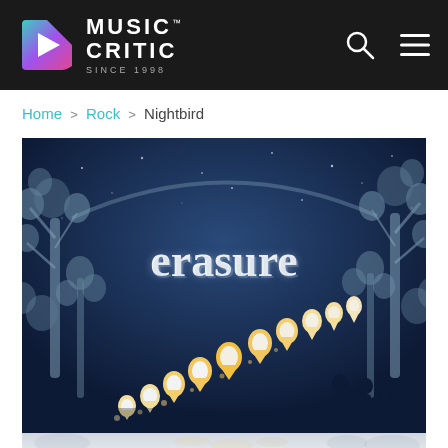MUSIC CRITIC™ SINCE 1998
Home > Rock > Nightbird
[Figure (illustration): Erasure Nightbird album cover art: dark blue night scene with stylized paper-cut trees and thistles, white 'erasure' text in an arch, glowing warm teardrop/lantern lights trailing across the scene, silhouettes of figures in lower right]